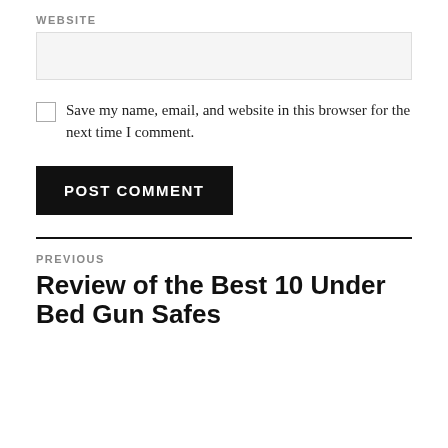WEBSITE
Save my name, email, and website in this browser for the next time I comment.
POST COMMENT
PREVIOUS
Review of the Best 10 Under Bed Gun Safes